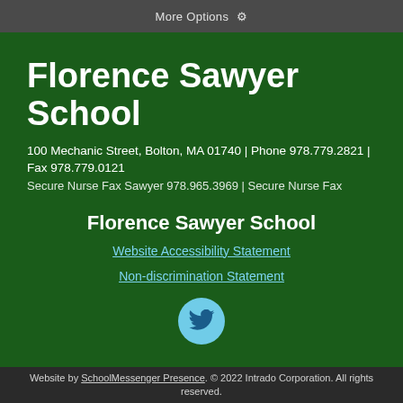More Options ⚙
Florence Sawyer School
100 Mechanic Street, Bolton, MA 01740 | Phone 978.779.2821 | Fax 978.779.0121
Secure Nurse Fax Sawyer 978.965.3969 | Secure Nurse Fax
Florence Sawyer School
Website Accessibility Statement
Non-discrimination Statement
[Figure (logo): Twitter bird logo in a light blue circle]
Website by SchoolMessenger Presence. © 2022 Intrado Corporation. All rights reserved.